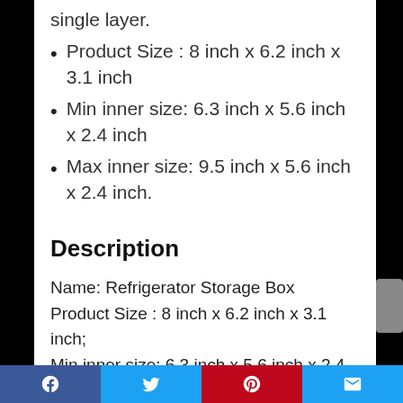single layer.
Product Size : 8 inch x 6.2 inch x 3.1 inch
Min inner size: 6.3 inch x 5.6 inch x 2.4 inch
Max inner size: 9.5 inch x 5.6 inch x 2.4 inch.
Description
Name: Refrigerator Storage Box
Product Size : 8 inch x 6.2 inch x 3.1 inch;
Min inner size: 6.3 inch x 5.6 inch x 2.4 inch;